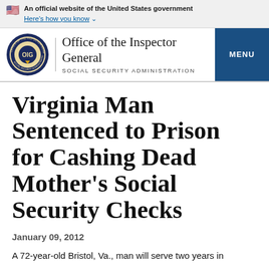An official website of the United States government Here's how you know
[Figure (logo): OIG seal logo for Social Security Administration Office of the Inspector General, with text 'Office of the Inspector General' and 'SOCIAL SECURITY ADMINISTRATION' and MENU button]
Virginia Man Sentenced to Prison for Cashing Dead Mother's Social Security Checks
January 09, 2012
A 72-year-old Bristol, Va., man will serve two years in